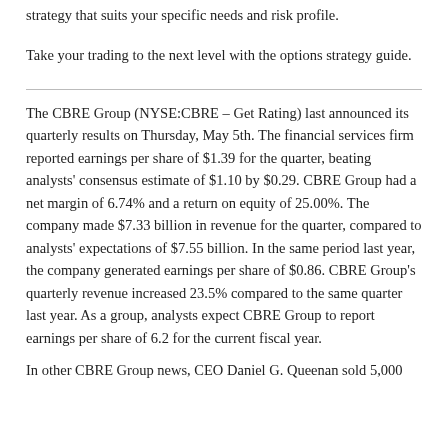strategy that suits your specific needs and risk profile.
Take your trading to the next level with the options strategy guide.
The CBRE Group (NYSE:CBRE – Get Rating) last announced its quarterly results on Thursday, May 5th. The financial services firm reported earnings per share of $1.39 for the quarter, beating analysts' consensus estimate of $1.10 by $0.29. CBRE Group had a net margin of 6.74% and a return on equity of 25.00%. The company made $7.33 billion in revenue for the quarter, compared to analysts' expectations of $7.55 billion. In the same period last year, the company generated earnings per share of $0.86. CBRE Group's quarterly revenue increased 23.5% compared to the same quarter last year. As a group, analysts expect CBRE Group to report earnings per share of 6.2 for the current fiscal year.
In other CBRE Group news, CEO Daniel G. Queenan sold 5,000